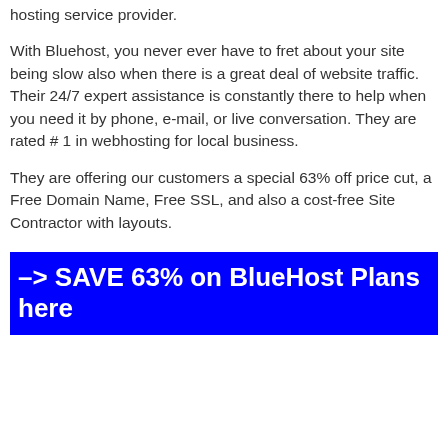hosting service provider.
With Bluehost, you never ever have to fret about your site being slow also when there is a great deal of website traffic. Their 24/7 expert assistance is constantly there to help when you need it by phone, e-mail, or live conversation. They are rated # 1 in webhosting for local business.
They are offering our customers a special 63% off price cut, a Free Domain Name, Free SSL, and also a cost-free Site Contractor with layouts.
–> SAVE 63% on BlueHost Plans here